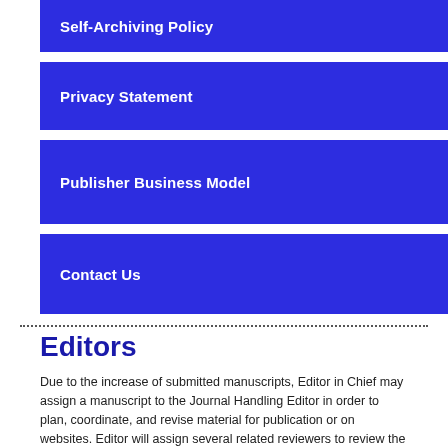Self-Archiving Policy
Privacy Statement
Publisher Business Model
Contact Us
Editors
Due to the increase of submitted manuscripts, Editor in Chief may assign a manuscript to the Journal Handling Editor in order to plan, coordinate, and revise material for publication or on websites. Editor will assign several related reviewers to review the assigned manuscript. Editor will also review story ideas and decide what material will appeal most to readers. During the review process, editors offer comments to improve the product and suggest titles and headlines.